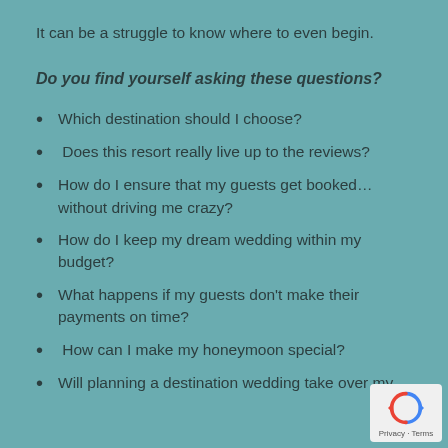It can be a struggle to know where to even begin.
Do you find yourself asking these questions?
Which destination should I choose?
Does this resort really live up to the reviews?
How do I ensure that my guests get booked… without driving me crazy?
How do I keep my dream wedding within my budget?
What happens if my guests don't make their payments on time?
How can I make my honeymoon special?
Will planning a destination wedding take over my